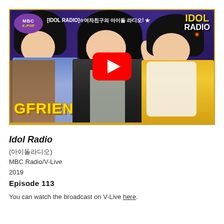[Figure (screenshot): YouTube video thumbnail for MBC K-POP Idol Radio episode featuring GFRIEND. Shows three young women, MBC K-POP logo top left, IDOL RADIO text top right, GFRIEND text bottom left, YouTube play button in center.]
Idol Radio
(아이돌라디오)
MBC Radio/V-Live
2019
Episode 113
You can watch the broadcast on V-Live here.